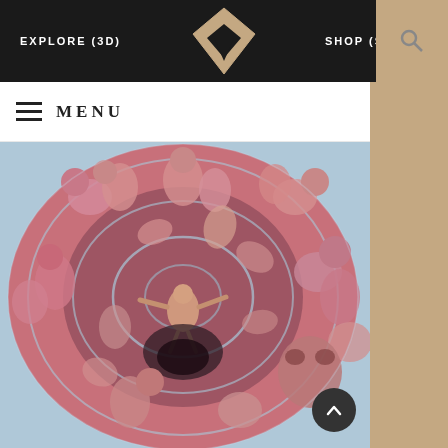EXPLORE (3D)   [logo]   SHOP (STORE)
≡ MENU
[Figure (illustration): A large circular surrealist painting showing a swirling sphere filled with intertwined human figures, faces, and bodies in pink, red, and flesh tones against a blue-grey background. At the center is a figure in a fetal/diving pose surrounded by concentric spiral rings. The sphere is densely packed with figurative imagery suggesting themes of life, existence, and interconnection.]